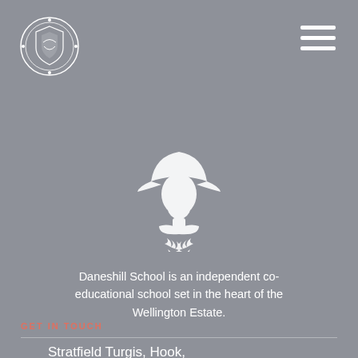[Figure (logo): Circular school logo with white outline on grey background, featuring a shield or crest motif with decorative elements and dots around the perimeter]
[Figure (illustration): White silhouette of a figure wearing a tricorn hat (Napoleon/Wellington style) above decorative oak leaf branches, centered on the page]
Daneshill School is an independent co-educational school set in the heart of the Wellington Estate.
GET IN TOUCH
Stratfield Turgis, Hook, Hampshire, RG27 0AR